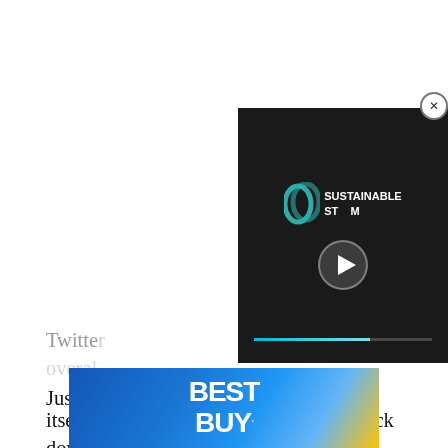[Figure (screenshot): Video player overlay with dark background showing 'Sustainable Stream' logo and play button, with a progress bar at the bottom. A close (X) button appears at top right.]
Just when you think the DCEU is finally righting itself, the franchise has been dragged back down into endless controversy in recent months. Not only are Amber Heard's legal battles casting a shadow over her role as Mera in Aquaman and the Lost Kingdom, but Ezra Miller's numerous run-ins with the law are leaving the fate of The Flash movie in question. As it turns out, maybe we should've listened to Peacemaker all along.
[Figure (screenshot): Best Buy advertisement banner with blue gradient background and yellow Best Buy logo text.]
Twitter ... ing an overal...